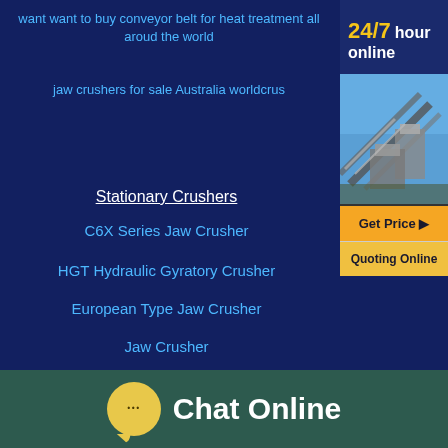want want to buy conveyor belt for heat treatment all aroud the world
jaw crushers for sale Australia worldcrus
24/7 hour online
[Figure (photo): Industrial mining/crushing facility with conveyor belts and crusher equipment against a blue sky]
Get Price ▶
Quoting Online
Stationary Crushers
C6X Series Jaw Crusher
HGT Hydraulic Gyratory Crusher
European Type Jaw Crusher
Jaw Crusher
Chat Online